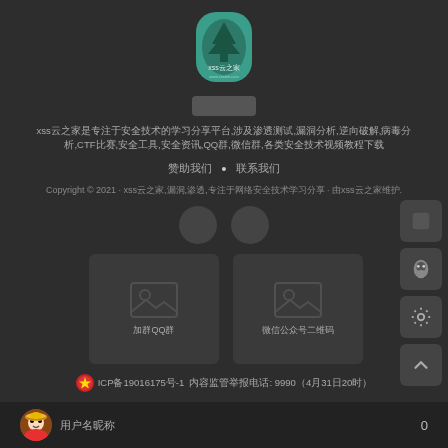[Figure (logo): XSS云之家 logo badge in teal/green with pine tree icon, showing site name and URL]
[Figure (other): Login button placeholder]
xss云之家是专注于安全技术的学习分享平台,涉及渗透测试,漏洞分析,逆向破解,病毒分析,CTF比赛,安全工具,安全资讯,QQ群,微信群,各类安全技术视频教程下载
赞助我们 • 联系我们
Copyright © 2021 · xss云之家,漏洞,渗透,专注于网络安全技术学习分享 · 由xss云之家维护.
[Figure (other): Two social/share circle icons]
[Figure (other): Two image placeholder cards with broken image icons - labeled 加群QQ群 and 微信公众号二维码]
加群QQ群
微信公众号二维码
🔴ICP备19016175号-1 内容监管举报电话: 9990（4月31日20时）
[Figure (other): User avatar - anime character (Luffy from One Piece)]
用户名昵称
0